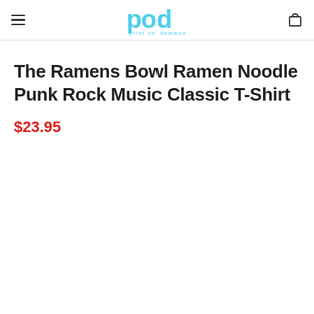pod print on demand — navigation header with hamburger menu and cart icon
The Ramens Bowl Ramen Noodle Punk Rock Music Classic T-Shirt
$23.95